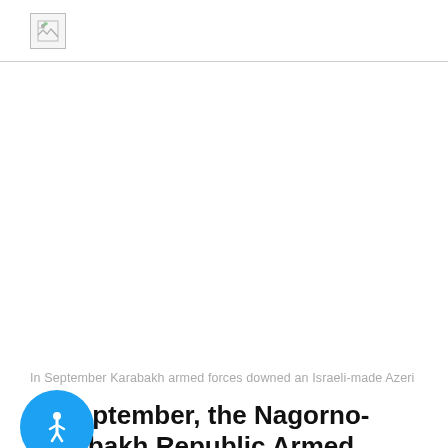[logo/image]
[Figure (photo): Broken image placeholder in page header — a small broken image icon with a border]
[Figure (photo): Main article image area — appears as a large white/blank space where a photo would be, showing no loaded image content]
In September Karabakh armed forces downed an Israeli-made Azeri
In September, the Nagorno-Karabakh Republic Armed